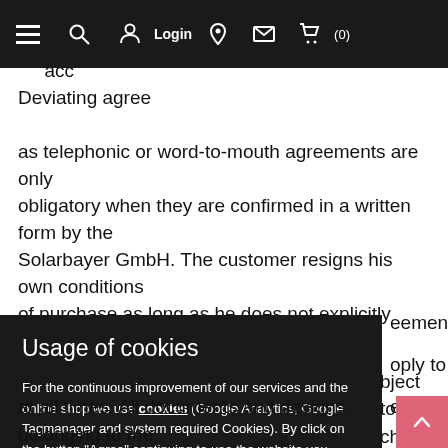Navigation bar with hamburger menu, search, login, pin, mail, cart icons
customer traffic of the Solarbayer GmbH. Deviating or aberrant conditions or supplements, as well as telephonic or word-to-mouth agreements are only obligatory when they are confirmed in a written form by the Solarbayer GmbH. The customer resigns his own conditions of purchase as long as he does not explicitly disagree in ...eements. The ...oply to contracts ...een the Solarbayer
...bject to change. All ...figures, ...signs in price lists ...t obligations. The ...ubject to change at all times. All documents and designs belonging to the
[Figure (screenshot): Cookie consent dialog overlay with title 'Usage of cookies', body text about cookies, Agree/Disagree buttons and Legal notice link]
Usage of cookies
For the continuous improvement of our services and the online shop we use cookies (Google Analytics, Google Tagmanager and system required Cookies). By click on the button "Agree" continuing to use the website you agree to the use of cookies on workstation4u.de. You find more information about cookies in our private policy.